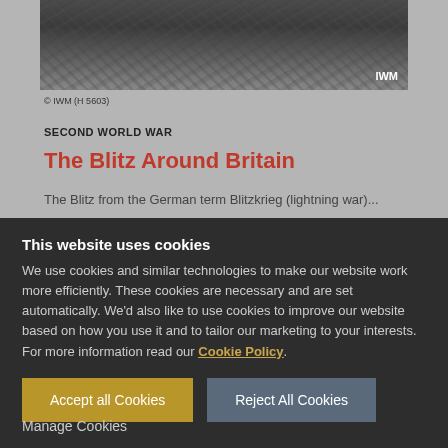[Figure (photo): Black and white photograph of WWII bomb damage / rubble scene with IWM watermark in bottom right corner]
© IWM (H 5603)
SECOND WORLD WAR
The Blitz Around Britain
The Blitz from the German term Blitzkrieg (lightning war)...
This website uses cookies
We use cookies and similar technologies to make our website work more efficiently. These cookies are necessary and are set automatically. We'd also like to use cookies to improve our website based on how you use it and to tailor our marketing to your interests. For more information read our Cookie Policy.
Accept all Cookies
Reject All Cookies
Manage Cookies